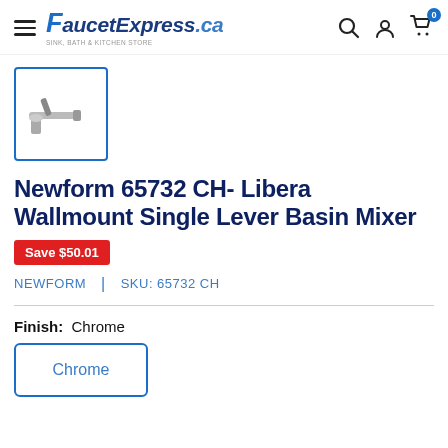FaucetExpress.ca — navigation header with hamburger menu, logo, search, account, and cart icons
[Figure (photo): Small thumbnail photo of Newform 65732 CH faucet — a wall-mount single lever basin mixer in chrome finish, shown from the side]
Newform 65732 CH- Libera Wallmount Single Lever Basin Mixer
Save $50.01
NEWFORM  |  SKU: 65732 CH
Finish:  Chrome
Chrome